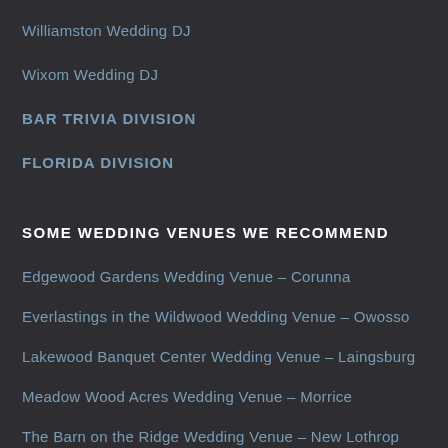Williamston Wedding DJ
Wixom Wedding DJ
BAR TRIVIA DIVISION
FLORIDA DIVISION
SOME WEDDING VENUES WE RECOMMEND
Edgewood Gardens Wedding Venue – Corunna
Everlastings in the Wildwood Wedding Venue – Owosso
Lakewood Banquet Center Wedding Venue – Laingsburg
Meadow Wood Acres Wedding Venue – Morrice
The Barn on the Ridge Wedding Venue – New Lothrop
The Milestone Barn Wedding Venue – Bannister
The Stone House Wedding Venue – Bancroft